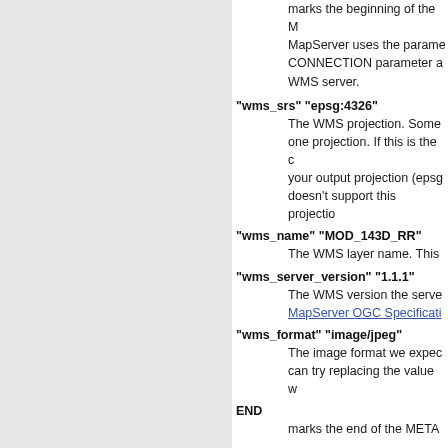marks the beginning of the M MapServer uses the param CONNECTION parameter a WMS server.
"wms_srs" "epsg:4326"
The WMS projection. Some one projection. If this is the your output projection (epsg doesn't support this projecti
"wms_name" "MOD_143D_RR"
The WMS layer name. This
"wms_server_version" "1.1.1"
The WMS version the serve MapServer OGC Specificati
"wms_format" "image/jpeg"
The image format we expec can try replacing the value w
END
marks the end of the META
To know more about adding WMS